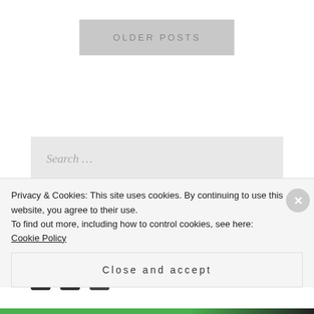OLDER POSTS
Search ...
SOCIAL
[Figure (other): Social media icons: Facebook, Twitter, and another icon]
Privacy & Cookies: This site uses cookies. By continuing to use this website, you agree to their use. To find out more, including how to control cookies, see here: Cookie Policy
Close and accept